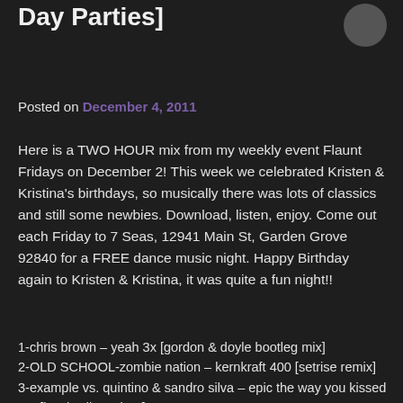Day Parties]
Posted on December 4, 2011
Here is a TWO HOUR mix from my weekly event Flaunt Fridays on December 2! This week we celebrated Kristen & Kristina's birthdays, so musically there was lots of classics and still some newbies. Download, listen, enjoy. Come out each Friday to 7 Seas, 12941 Main St, Garden Grove 92840 for a FREE dance music night. Happy Birthday again to Kristen & Kristina, it was quite a fun night!!
DOWNLOAD [128k mp3, 118mb, 2 hrs 9 min]
1-chris brown – yeah 3x [gordon & doyle bootleg mix]
2-OLD SCHOOL-zombie nation – kernkraft 400 [setrise remix]
3-example vs. quintino & sandro silva – epic the way you kissed me [hardwell mashup]
4-benny benassi vs. marco v – cinema vs. reaver